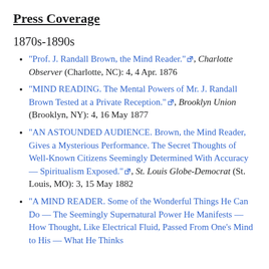Press Coverage
1870s-1890s
"Prof. J. Randall Brown, the Mind Reader." [ext], Charlotte Observer (Charlotte, NC): 4, 4 Apr. 1876
"MIND READING. The Mental Powers of Mr. J. Randall Brown Tested at a Private Reception." [ext], Brooklyn Union (Brooklyn, NY): 4, 16 May 1877
"AN ASTOUNDED AUDIENCE. Brown, the Mind Reader, Gives a Mysterious Performance. The Secret Thoughts of Well-Known Citizens Seemingly Determined With Accuracy — Spiritualism Exposed." [ext], St. Louis Globe-Democrat (St. Louis, MO): 3, 15 May 1882
"A MIND READER. Some of the Wonderful Things He Can Do — The Seemingly Supernatural Power He Manifests — How Thought, Like Electrical Fluid, Passed From One's Mind to His — What He Thinks